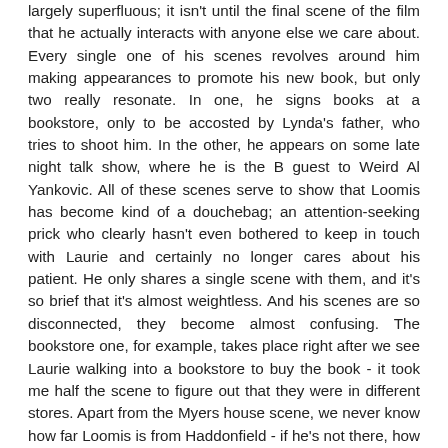largely superfluous; it isn't until the final scene of the film that he actually interacts with anyone else we care about. Every single one of his scenes revolves around him making appearances to promote his new book, but only two really resonate. In one, he signs books at a bookstore, only to be accosted by Lynda's father, who tries to shoot him. In the other, he appears on some late night talk show, where he is the B guest to Weird Al Yankovic. All of these scenes serve to show that Loomis has become kind of a douchebag; an attention-seeking prick who clearly hasn't even bothered to keep in touch with Laurie and certainly no longer cares about his patient. He only shares a single scene with them, and it's so brief that it's almost weightless. And his scenes are so disconnected, they become almost confusing. The bookstore one, for example, takes place right after we see Laurie walking into a bookstore to buy the book - it took me half the scene to figure out that they were in different stores. Apart from the Myers house scene, we never know how far Loomis is from Haddonfield - if he's not there, how does he get to the shack so quickly at the end, and if he IS there, why hasn't Brackett or Laurie run into him until then? Via Twitter, Rob claimed that his first cut of the film ran nearly four hours - I'm